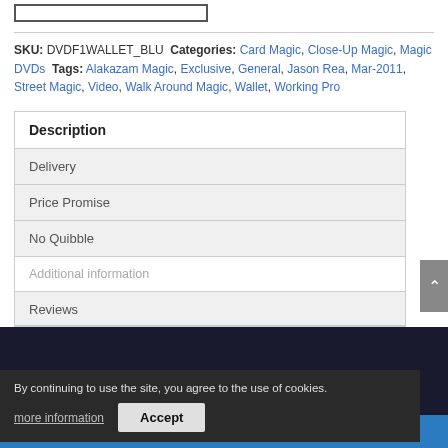SKU: DVDF1WALLET_BLU Categories: Card Magic, Close-Up Magic, Magic DVDs Tags: Alakazam Magic, Exclusive, General, Jason Rea, Mar-2011, Street Magic, Video, Walk Around Magic, Wallet, Working Pro
| Description |
| Delivery |
| Price Promise |
| No Quibble |
| Additional information |
| Reviews |
By continuing to use the site, you agree to the use of cookies.
more information
Accept
20% OFF FOR NON UK CUSTOMERS Dismiss